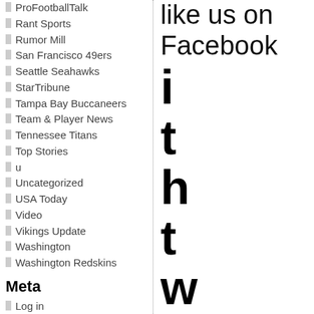ProFootballTalk
Rant Sports
Rumor Mill
San Francisco 49ers
Seattle Seahawks
StarTribune
Tampa Bay Buccaneers
Team & Player News
Tennessee Titans
Top Stories
u
Uncategorized
USA Today
Video
Vikings Update
Washington
Washington Redskins
Meta
Log in
Entries feed
Like us on Facebook
i t h t w o o p t